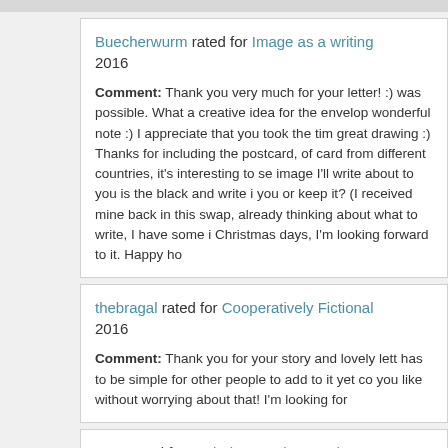Buecherwurm rated for Image as a writing 2016
Comment: Thank you very much for your letter! :) was possible. What a creative idea for the envelop wonderful note :) I appreciate that you took the time great drawing :) Thanks for including the postcard, of card from different countries, it's interesting to se image I'll write about to you is the black and write i you or keep it? (I received mine back in this swap, already thinking about what to write, I have some i Christmas days, I'm looking forward to it. Happy ho
thebragal rated for Cooperatively Fictional 2016
Comment: Thank you for your story and lovely lett has to be simple for other people to add to it yet co you like without worrying about that! I'm looking for
Jazz rated for Technique series #2 - h20 c on Nov 10, 2016
Comment: You did a great job...talented artist! tha